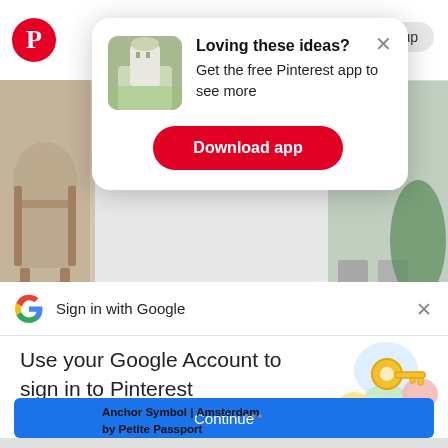[Figure (screenshot): Pinterest app webpage with popup overlay and Google sign-in dialog]
Loving these ideas? Get the free Pinterest app to see more
Download app
Anchor Symbol | Amsterdam by Petite Passport
Sign in with Google
Use your Google Account to sign in to Pinterest
No more passwords to remember. Signing in is fast, simple and secure.
Continue